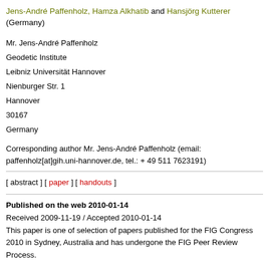Jens-André Paffenholz, Hamza Alkhatib and Hansjörg Kutterer (Germany)
Mr. Jens-André Paffenholz
Geodetic Institute
Leibniz Universität Hannover
Nienburger Str. 1
Hannover
30167
Germany
Corresponding author Mr. Jens-André Paffenholz (email: paffenholz[at]gih.uni-hannover.de, tel.: + 49 511 7623191)
[ abstract ] [ paper ] [ handouts ]
Published on the web 2010-01-14
Received 2009-11-19 / Accepted 2010-01-14
This paper is one of selection of papers published for the FIG Congress 2010 in Sydney, Australia and has undergone the FIG Peer Review Process.